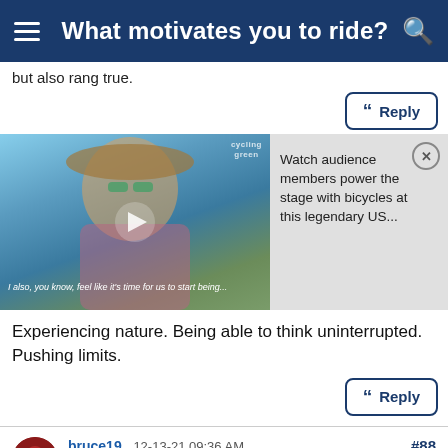What motivates you to ride?
but also rang true.
[Figure (screenshot): Video thumbnail of a woman wearing a hat and sunglasses outdoors, with a play button overlay and caption text. Alongside it is a panel reading 'Watch audience members power the stage with bicycles at this legendary US...' with a close button.]
Experiencing nature. Being able to think uninterrupted. Pushing limits.
#88
bruce19 , 12-13-21 09:36 AM
Senior Member
For me it's about the mechanics of the bike and the "mechanics" of the rider. I like to play with shifting and